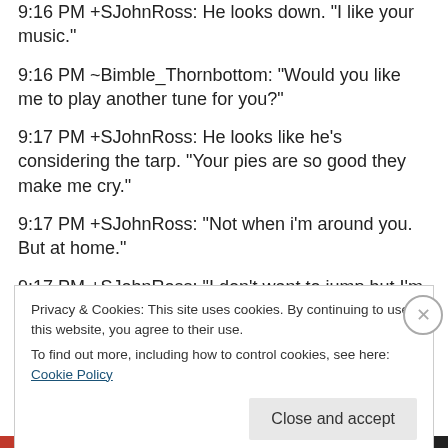9:16 PM +SJohnRoss: He looks down. “I like your music.”
9:16 PM ~Bimble_Thornbottom: “Would you like me to play another tune for you?”
9:17 PM +SJohnRoss: He looks like he’s considering the tarp. “Your pies are so good they make me cry.”
9:17 PM +SJohnRoss: “Not when i’m around you. But at home.”
9:17 PM +SJohnRoss: “I don’t want to jump but I’m so tired of not jumping.”
Privacy & Cookies: This site uses cookies. By continuing to use this website, you agree to their use.
To find out more, including how to control cookies, see here: Cookie Policy